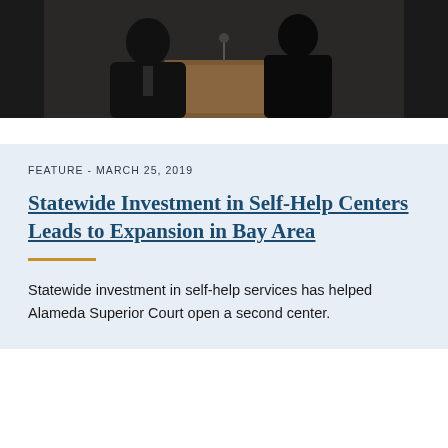[Figure (photo): Two people at a wooden podium, likely speaking at a formal event or court proceeding, photographed against a dark background.]
FEATURE - MARCH 25, 2019
Statewide Investment in Self-Help Centers Leads to Expansion in Bay Area
Statewide investment in self-help services has helped Alameda Superior Court open a second center.